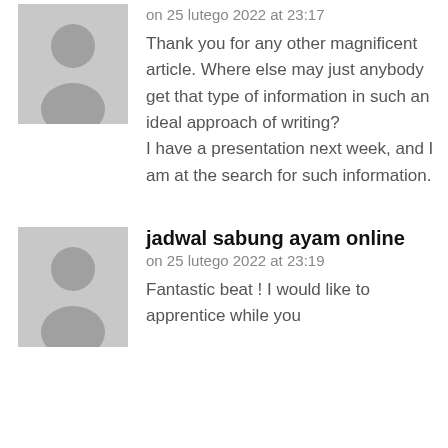on 25 lutego 2022 at 23:17
Thank you for any other magnificent article. Where else may just anybody get that type of information in such an ideal approach of writing?
I have a presentation next week, and I am at the search for such information.
jadwal sabung ayam online
on 25 lutego 2022 at 23:19
Fantastic beat ! I would like to apprentice while you